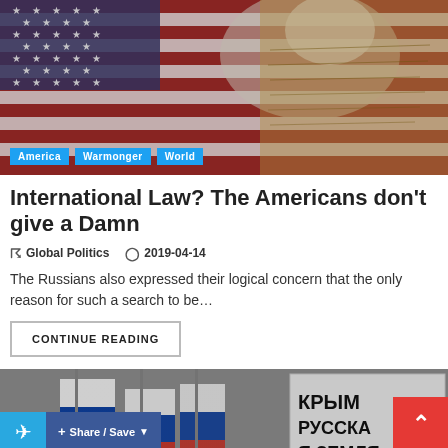[Figure (photo): Hero image showing American flag with bald eagle and handwritten documents overlay, with category tags America, Warmonger, World overlaid at bottom left]
International Law? The Americans don't give a Damn
Global Politics   2019-04-14
The Russians also expressed their logical concern that the only reason for such a search to be…
CONTINUE READING
[Figure (photo): Bottom image showing Russian flags and a protest sign with Cyrillic text КРЫМ РУССКАЯ ЗЕМЛЯ, with Telegram share button and Share/Save button overlaid]